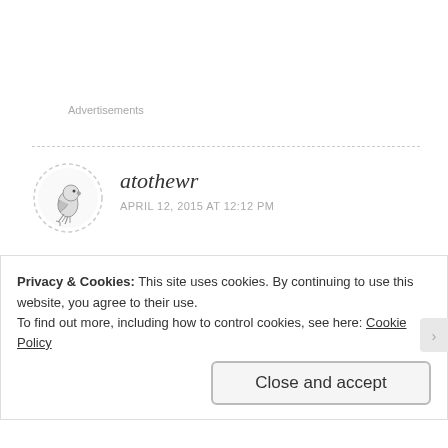Advertisements
[Figure (illustration): Circular dashed-border avatar icon showing a black and white illustration of a bird (parrot/woodpecker) perched on a branch]
atothewr
APRIL 12, 2015 AT 12:12 PM
Kurt Russell – yes, yes, yes, and yes – he is the man ever since Escape from New York for me. You just can't beat Snake.
Privacy & Cookies: This site uses cookies. By continuing to use this website, you agree to their use.
To find out more, including how to control cookies, see here: Cookie Policy
Close and accept